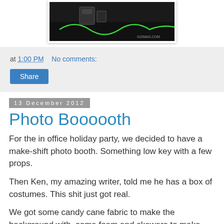[Figure (photo): A dark photograph showing cables or equipment outdoors, with a watermark in the bottom right corner reading 'GIZMAG.COM']
at 1:00 PM   No comments:
Share
13 December 2012
Photo Boooooth
For the in office holiday party, we decided to have a make-shift photo booth. Something low key with a few props.
Then Ken, my amazing writer, told me he has a box of costumes. This shit just got real.
We got some candy cane fabric to make the background with, some foam and skewers to make facial props and Ken brought in his box of costumes. A note for next year: more